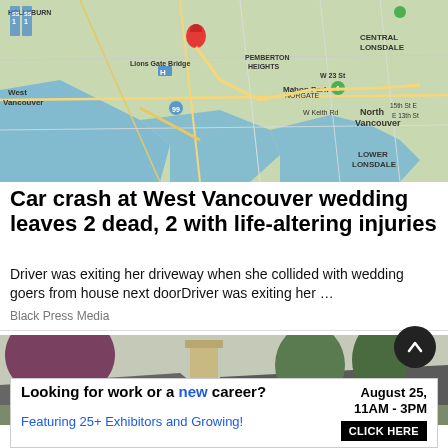[Figure (map): Google Maps satellite/hybrid view showing West Vancouver area including Lions Gate Bridge, Hollyburn, West Vancouver, Pemberton Heights, Mahon Park, Central Lonsdale, North Vancouver, Lower Lonsdale, with a red location pin marker and route line.]
Car crash at West Vancouver wedding leaves 2 dead, 2 with life-altering injuries
Driver was exiting her driveway when she collided with wedding goers from house next doorDriver was exiting her …
Black Press Media
[Figure (photo): Photograph showing rooftops of residential houses with trees including a purple/red leafed tree on the left, a brick chimney, and grey roofing.]
[Figure (infographic): Advertisement banner: 'Looking for work or a new career? August 25, 11AM - 3PM. Featuring 25+ Exhibitors and Growing! CLICK HERE']